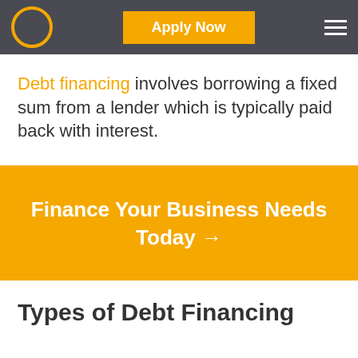Apply Now
Debt financing involves borrowing a fixed sum from a lender which is typically paid back with interest.
Finance Your Business Needs Today →
Types of Debt Financing